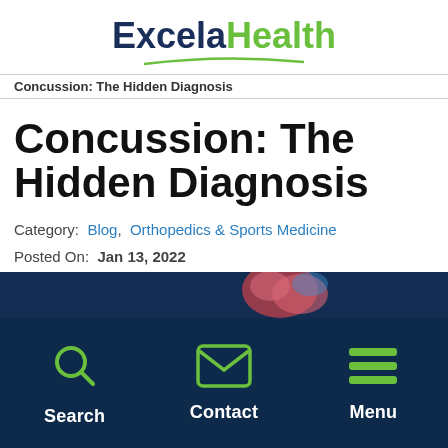Excela Health
Concussion: The Hidden Diagnosis
Concussion: The Hidden Diagnosis
Category:  Blog,  Orthopedics & Sports Medicine
Posted On:  Jan 13, 2022
[Figure (photo): Partial view of a brain illustration on a dark blue background]
[Figure (infographic): Bottom navigation bar with Search, Contact, and Menu icons on dark navy background]